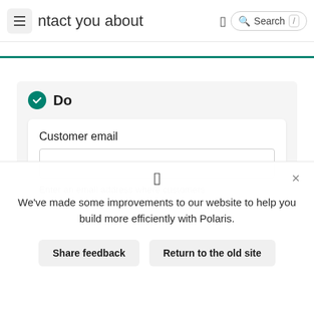[Figure (screenshot): Navigation bar with hamburger menu, partial text 'ntact you about', a bracket icon, and a search box with Search label and slash shortcut key]
[Figure (screenshot): A 'Do' section card with green checkmark circle, bold 'Do' heading, an inner white card containing 'Customer email' field label, an empty text input box, and helper text 'Enter an email address where customers']
[Figure (screenshot): Modal overlay with bracket icon, X close button, text 'We've made some improvements to our website to help you build more efficiently with Polaris.', and two buttons: 'Share feedback' and 'Return to the old site']